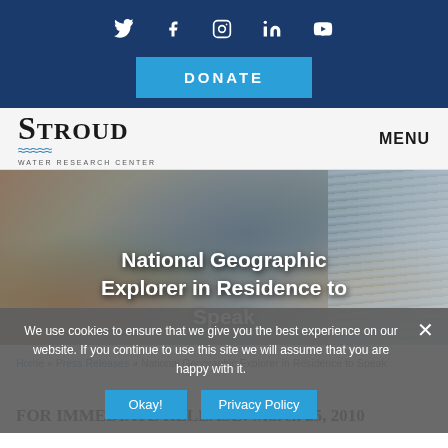Social icons: Twitter, Facebook, Instagram, LinkedIn, YouTube
[Figure (screenshot): Donate button on dark blue background]
[Figure (logo): Stroud Water Research Center logo with navigation menu label]
[Figure (photo): Hero image of rocky stream with leaves, overlaid with title: National Geographic Explorer in Residence to Speak]
We use cookies to ensure that we give you the best experience on our website. If you continue to use this site we will assume that you are happy with it.
Home » Press Releases » National Geographic Explorer in Residence to Speak
FOR IMMEDIATE RELEASE: March 25, 2010